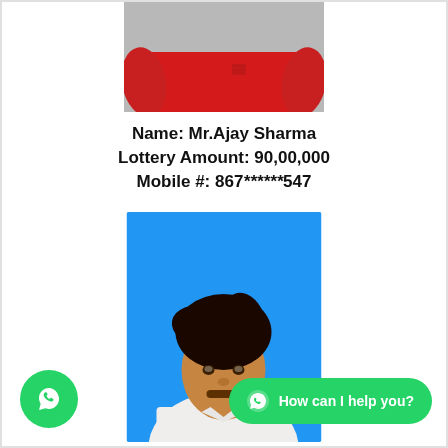[Figure (photo): Partial photo of a person wearing a red t-shirt, cropped at the neck, white/grey background]
Name: Mr.Ajay Sharma
Lottery Amount: 90,00,000
Mobile #: 867******547
[Figure (photo): Portrait photo of a young man with styled dark hair against a blue background, wearing a white shirt]
[Figure (logo): WhatsApp circular green button icon, bottom-left corner]
How can I help you?